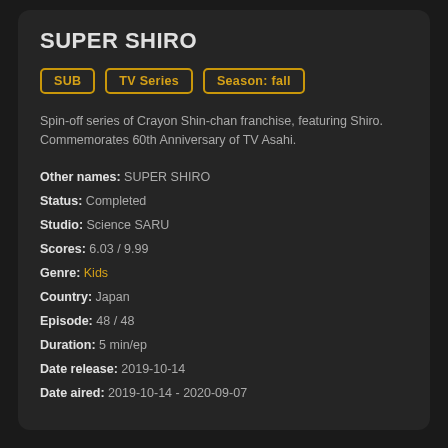SUPER SHIRO
SUB | TV Series | Season: fall
Spin-off series of Crayon Shin-chan franchise, featuring Shiro. Commemorates 60th Anniversary of TV Asahi.
Other names: SUPER SHIRO
Status: Completed
Studio: Science SARU
Scores: 6.03 / 9.99
Genre: Kids
Country: Japan
Episode: 48 / 48
Duration: 5 min/ep
Date release: 2019-10-14
Date aired: 2019-10-14 - 2020-09-07